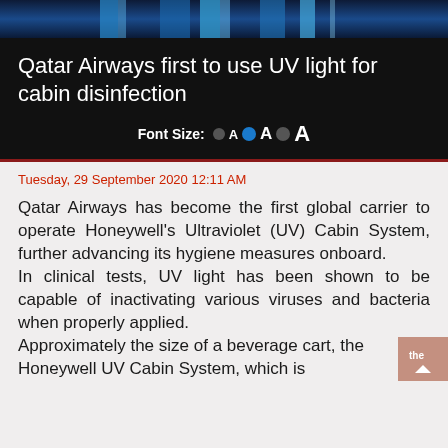[Figure (photo): Top strip showing a partial photo with blue and dark tones, likely cabin or aircraft interior]
Qatar Airways first to use UV light for cabin disinfection
Font Size: ● A ● A ● A
Tuesday, 29 September 2020 12:11 AM
Qatar Airways has become the first global carrier to operate Honeywell's Ultraviolet (UV) Cabin System, further advancing its hygiene measures onboard.
In clinical tests, UV light has been shown to be capable of inactivating various viruses and bacteria when properly applied.
Approximately the size of a beverage cart, the Honeywell UV Cabin System, which is